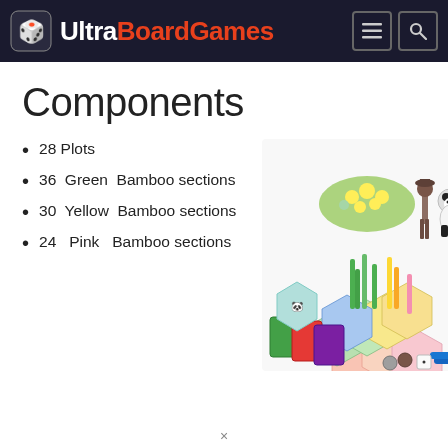UltraBoardGames
Components
28 Plots
36 Green Bamboo sections
30 Yellow Bamboo sections
24 Pink Bamboo sections
[Figure (photo): Photo of Takenoko board game components: hex tiles, bamboo sections in green/yellow/pink, panda and gardener figurines, irrigation sticks, objective cards, and a die.]
×